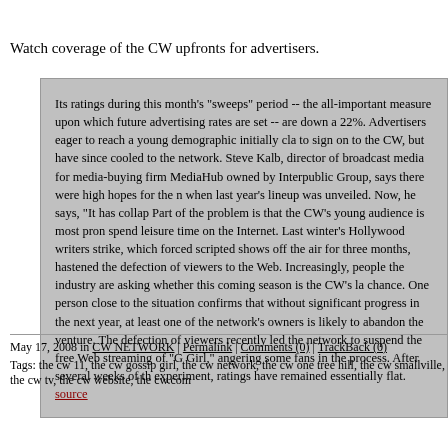Watch coverage of the CW upfronts for advertisers.
Its ratings during this month's "sweeps" period -- the all-important measure upon which future advertising rates are set -- are down a 22%. Advertisers eager to reach a young demographic initially cla to sign on to the CW, but have since cooled to the network. Steve Kalb, director of broadcast media for media-buying firm MediaHub owned by Interpublic Group, says there were high hopes for the n when last year's lineup was unveiled. Now, he says, "It has collap Part of the problem is that the CW's young audience is most pron spend leisure time on the Internet. Last winter's Hollywood writers strike, which forced scripted shows off the air for three months, hastened the defection of viewers to the Web. Increasingly, people the industry are asking whether this coming season is the CW's la chance. One person close to the situation confirms that without significant progress in the next year, at least one of the network's owners is likely to abandon the venture. The defection of viewers recently led the network to suspend the free Web streaming of "G Girl," angering some fans in the process. After several weeks of th experiment, ratings have remained essentially flat. source
May 17, 2008 in CW NETWORK | Permalink | Comments (0) | TrackBack (0)
Tags: the cw 11, the cw gossip girl, the cw network, the cw one tree hill, the cw smallville, the cw tv, the cw website, the cw.com